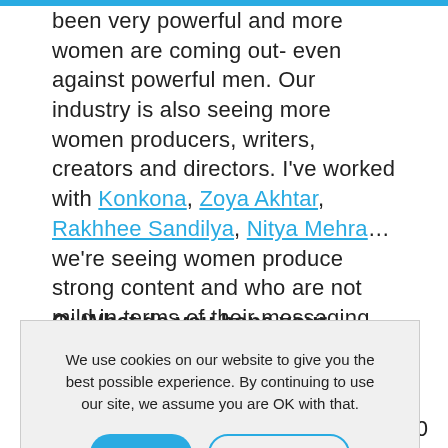been very powerful and more women are coming out- even against powerful men. Our industry is also seeing more women producers, writers, creators and directors. I've worked with Konkona, Zoya Akhtar, Rakhhee Sandilya, Nitya Mehra... we're seeing women produce strong content and who are not mild in terms of their messaging. It's a real game changer..
Q: What do you hope your legacy will be?
We use cookies on our website to give you the best possible experience. By continuing to use our site, we assume you are OK with that.
to keep working on my craft and continue to